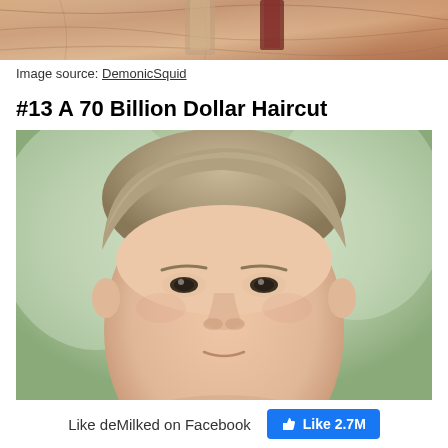[Figure (photo): Partial view of ornate decorative items on a marble surface — top portion of image cropped]
Image source: DemonicSquid
#13 A 70 Billion Dollar Haircut
[Figure (photo): Close-up portrait photo of Mark Zuckerberg showing his face and short hair against a blurred background]
Like deMilked on Facebook   Like 2.7M